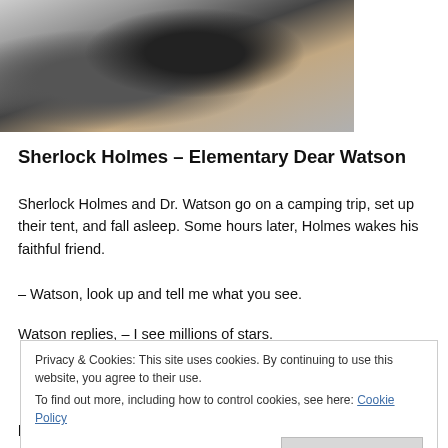[Figure (photo): Black and white photo of Sherlock Holmes figure, partially visible, dark silhouette against lighter background with beige/tan tones]
Sherlock Holmes – Elementary Dear Watson
Sherlock Holmes and Dr. Watson go on a camping trip, set up their tent, and fall asleep. Some hours later, Holmes wakes his faithful friend.
– Watson, look up and tell me what you see.
Watson replies, – I see millions of stars.
Privacy & Cookies: This site uses cookies. By continuing to use this website, you agree to their use. To find out more, including how to control cookies, see here: Cookie Policy
billions of planets.